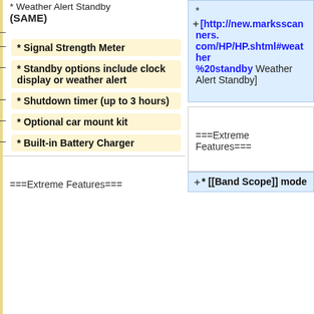* Weather Alert Standby (SAME)
* [http://new.marksscanners.com/HP/HP.shtml#weather%20standby Weather Alert Standby]
* Signal Strength Meter
* Standby options include clock display or weather alert
* Shutdown timer (up to 3 hours)
* Optional car mount kit
* Built-in Battery Charger
===Extreme Features===
===Extreme Features===
* [[Band Scope]] mode